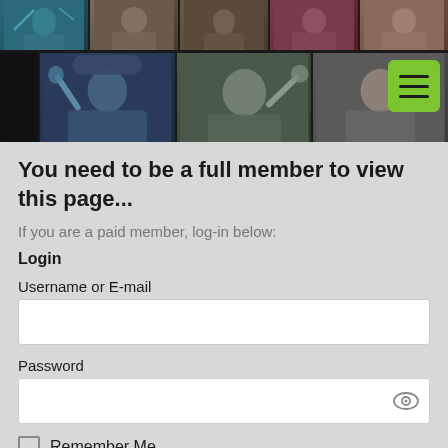[Figure (photo): Screenshot of a video call grid showing multiple participants waving, on dark background with green hamburger menu button in top right corner]
You need to be a full member to view this page...
If you are a paid member, log-in below:
Login
Username or E-mail
Password
Remember Me